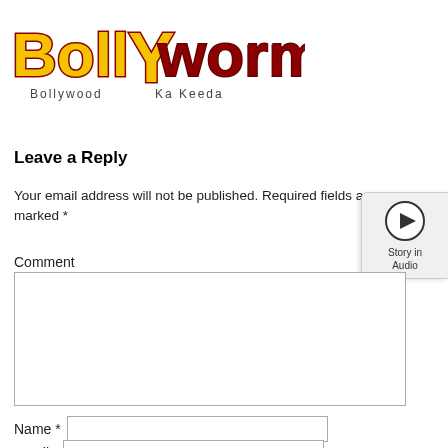[Figure (logo): Bollyworm logo — stylized text 'BollyWorm' in yellow/red with subtitle 'Bollywood Ka Keeda']
Leave a Reply
Your email address will not be published. Required fields are marked *
Comment
[Figure (other): Story in Audio widget with circular play button]
Name *
Email *
Website